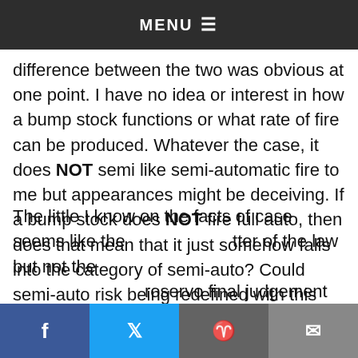MENU
saw it. Much the same with full-auto, I fired that and three round burst while in the military and the difference between the two was obvious at one point. I have no idea or interest in how a bump stock functions or what rate of fire can be produced. Whatever the case, it does NOT semi like semi-automatic fire to me but appearances might be deceiving. If a bump stock does NOT fire full auto, then does that mean that it just somehow falls into the category of semi-auto? Could semi-auto risk being redefined with this case? I guess I will find out these answers soon enough but the possibilities make me nervous.
The little I know on the facts of case seems like the matter of the law but not the reserve/o final judgement